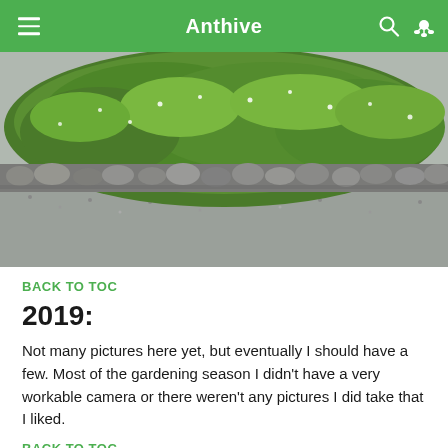Anthive
[Figure (photo): Garden photo showing green ground cover plants with small white flowers, bordered by rounded river rocks, over a gravel bed]
BACK TO TOC
2019:
Not many pictures here yet, but eventually I should have a few. Most of the gardening season I didn't have a very workable camera or there weren't any pictures I did take that I liked.
BACK TO TOC